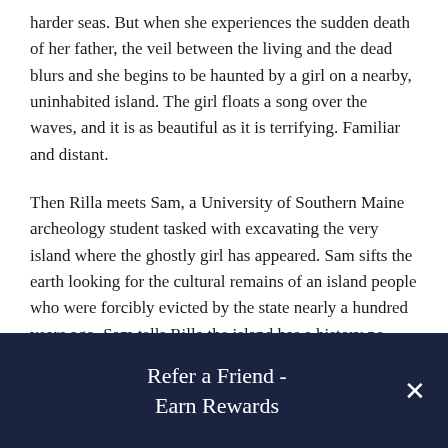harder seas. But when she experiences the sudden death of her father, the veil between the living and the dead blurs and she begins to be haunted by a girl on a nearby, uninhabited island. The girl floats a song over the waves, and it is as beautiful as it is terrifying. Familiar and distant.
Then Rilla meets Sam, a University of Southern Maine archeology student tasked with excavating the very island where the ghostly girl has appeared. Sam sifts the earth looking for the cultural remains of an island people who were forcibly evicted by the state nearly a hundred years ago. Sam tells Rilla the island has a history no locals talk about—if they know about it at all—due to the shame the events brought to the
Refer a Friend - Earn Rewards